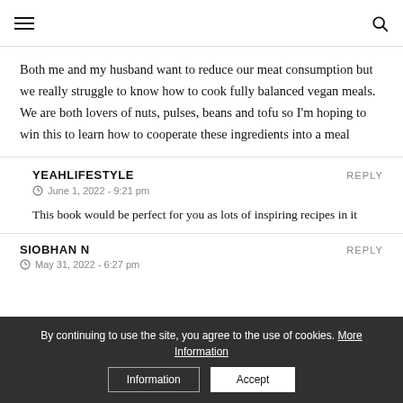[hamburger menu] [search icon]
Both me and my husband want to reduce our meat consumption but we really struggle to know how to cook fully balanced vegan meals. We are both lovers of nuts, pulses, beans and tofu so I'm hoping to win this to learn how to cooperate these ingredients into a meal
YEAHLIFESTYLE
June 1, 2022 - 9:21 pm
This book would be perfect for you as lots of inspiring recipes in it
REPLY
SIOBHAN N
May 31, 2022 - 6:27 pm
REPLY
By continuing to use the site, you agree to the use of cookies. More Information  Accept